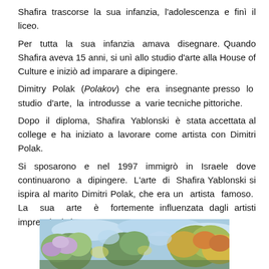Shafira trascorse la sua infanzia, l'adolescenza e finì il liceo.
Per tutta la sua infanzia amava disegnare. Quando Shafira aveva 15 anni, si unì allo studio d'arte alla House of Culture e iniziò ad imparare a dipingere.
Dimitry Polak (Polakov) che era insegnante presso lo studio d'arte, la introdusse a varie tecniche pittoriche.
Dopo il diploma, Shafira Yablonski è stata accettata al college e ha iniziato a lavorare come artista con Dimitri Polak.
Si sposarono e nel 1997 immigrò in Israele dove continuarono a dipingere. L'arte di Shafira Yablonski si ispira al marito Dimitri Polak, che era un artista famoso. La sua arte è fortemente influenzata dagli artisti impressionisti.
[Figure (photo): Impressionist-style colorful painting showing trees and foliage with blues, greens, yellows and purples — partially cropped at bottom of page.]